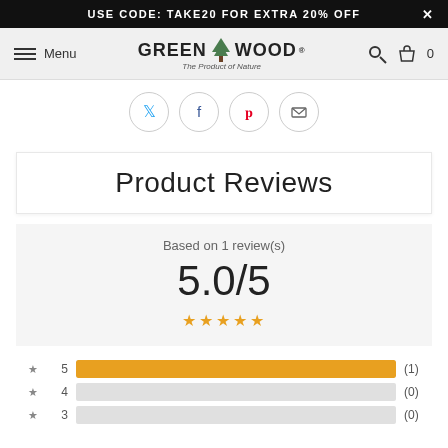USE CODE: TAKE20 FOR EXTRA 20% OFF
[Figure (logo): GREEN WOOD - The Product of Nature logo with tree icon]
[Figure (infographic): Social sharing icons: Twitter, Facebook, Pinterest, Email in circles]
Product Reviews
Based on 1 review(s)
5.0/5
[Figure (infographic): 5 orange star rating icons]
| Stars | Bar | Count |
| --- | --- | --- |
| 5 | full | (1) |
| 4 | empty | (0) |
| 3 | empty | (0) |